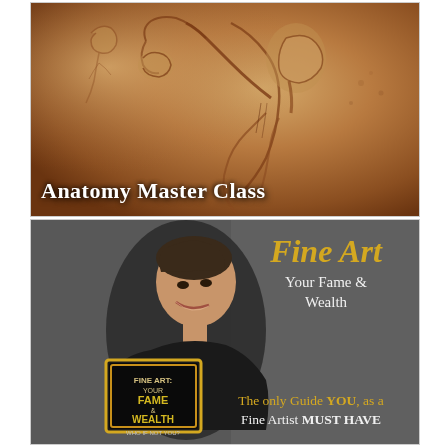[Figure (illustration): Renaissance-style anatomical sketch drawing in warm sepia/brown tones showing a muscular male figure from behind/side, raising one arm. Classical art study illustration. Text overlay reads 'Anatomy Master Class' in white bold lettering at bottom left.]
[Figure (photo): Dark gray background photo showing a smiling woman in black holding a book titled 'Fine Art: Your Fame & Wealth - Who If Not You?' with golden frame design. Right side has text: 'Fine Art' in gold large type, 'Your Fame & Wealth' in white, and 'The only Guide YOU, as a Fine Artist MUST HAVE' in mixed gold/white text.]